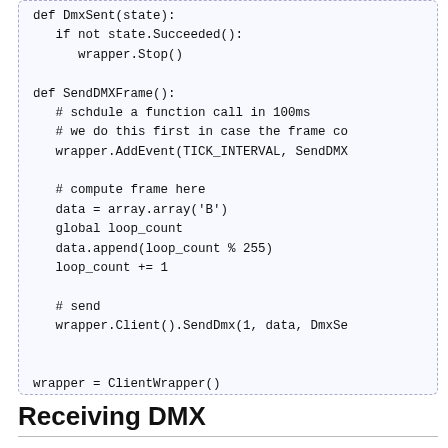[Figure (screenshot): Code block with Python code showing DmxSent and SendDMXFrame function definitions, plus wrapper initialization lines]
Receiving DMX
Here is some code to receive DMX on universe 1.
[Figure (screenshot): Partial code block showing Python import statement: from ola.ClientWrapper import ClientWrapp...]